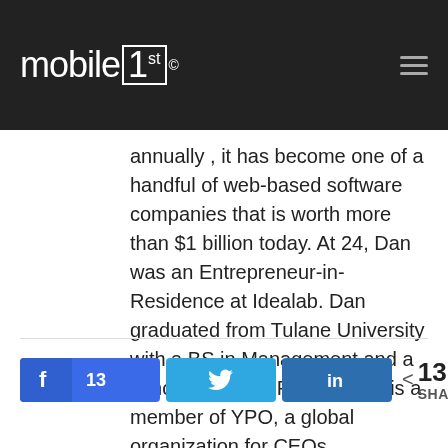mobile1st
annually , it has become one of a handful of web-based software companies that is worth more than $1 billion today. At 24, Dan was an Entrepreneur-in-Residence at Idealab. Dan graduated from Tulane University with a BS in Management and a concentration in Finance. He is a member of YPO, a global organization for CEOs.